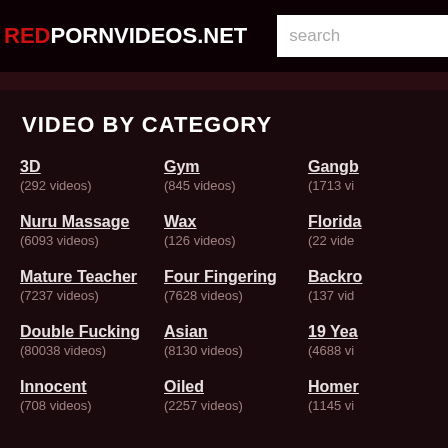REDPORNVIDEOS.NET  search
VIDEO BY CATEGORY
3D (292 videos)
Gym (845 videos)
Gangb... (1713 vi...)
Nuru Massage (6093 videos)
Wax (126 videos)
Florida... (22 vide...)
Mature Teacher (7237 videos)
Four Fingering (7628 videos)
Backro... (137 vid...)
Double Fucking (80038 videos)
Asian (8130 videos)
19 Yea... (4688 vi...)
Innocent (708 videos)
Oiled (2257 videos)
Homer... (1145 vi...)